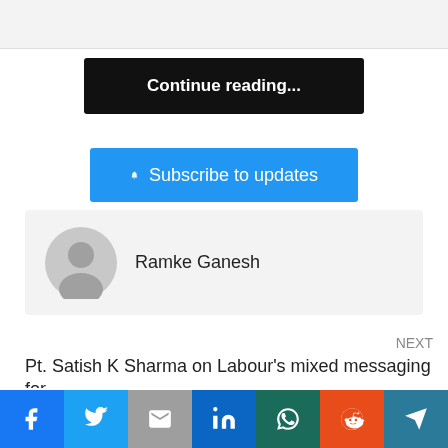Continue reading...
Subscribe to updates
Ramke Ganesh
NEXT
Pt. Satish K Sharma on Labour's mixed messaging for
This website uses cookies.
Accept